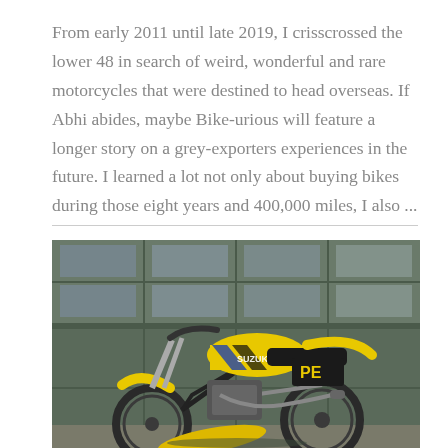From early 2011 until late 2019, I crisscrossed the lower 48 in search of weird, wonderful and rare motorcycles that were destined to head overseas. If Abhi abides, maybe Bike-urious will feature a longer story on a grey-exporters experiences in the future. I learned a lot not only about buying bikes during those eight years and 400,000 miles, I also ...
[Figure (photo): A yellow dirt motorcycle (Suzuki PE model) parked in front of a grey garage door. The motorcycle is bright yellow with blue and black accents, featuring 'PE' written on the seat fairing. A yellow fender is propped against the front wheel.]